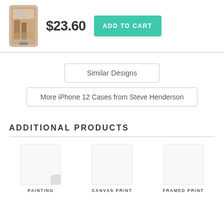[Figure (photo): Phone case product thumbnail showing a painting of what appears to be architectural/cityscape scene in warm tones]
$23.60
ADD TO CART
Similar Designs
More iPhone 12 Cases from Steve Henderson
ADDITIONAL PRODUCTS
PAINTING
CANVAS PRINT
FRAMED PRINT